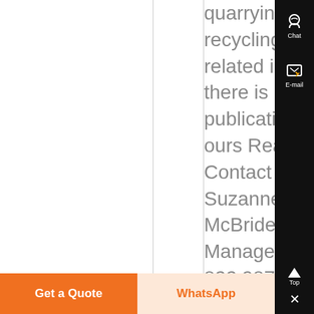quarrying, recycling, or related industries there is no better publication than ours Read More Contact Us Suzanne McBride Sales Manager P 678 822 9871 F 770 642 4715 email protected General Questions email protected
Chat
E-mail
Top
Get a Quote
WhatsApp